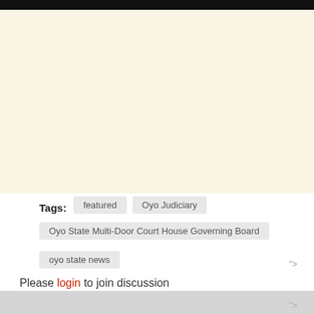Tags: featured  Oyo Judiciary  Oyo State Multi-Door Court House Governing Board  oyo state news
">
Please login to join discussion
">